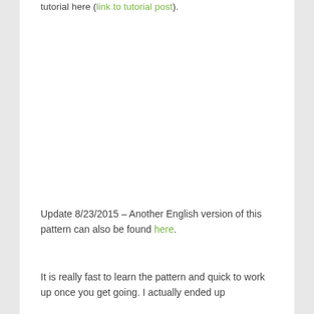tutorial here (link to tutorial post).
Update 8/23/2015 – Another English version of this pattern can also be found here.
It is really fast to learn the pattern and quick to work up once you get going. I actually ended up